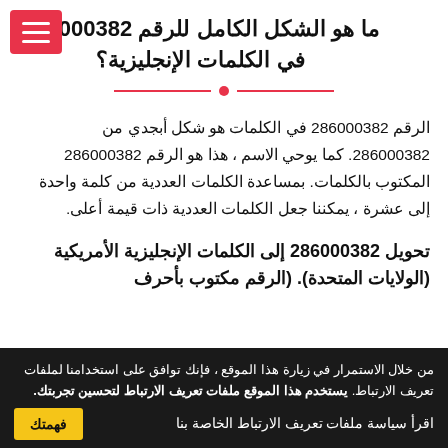ما هو الشكل الكامل للرقم 286000382 في الكلمات الإنجليزية؟
الرقم 286000382 في الكلمات هو شكل أبجدي من 286000382. كما يوحي الاسم ، هذا هو الرقم 286000382 المكتوب بالكلمات. بمساعدة الكلمات العددية من كلمة واحدة إلى عشرة ، يمكننا جعل الكلمات العددية ذات قيمة أعلى.
تحويل 286000382 إلى الكلمات الإنجليزية الأمريكية (الولايات المتحدة). (الرقم مكتوب بأحرف
من خلال الاستمرار في زيارة هذا الموقع ، فإنك توافق على استخدامنا لملفات تعريف الارتباط. يستخدم هذا الموقع ملفات تعريف الارتباط لتحسين تجربتك.
اقرأ سياسة ملفات تعريف الارتباط الخاصة بنا